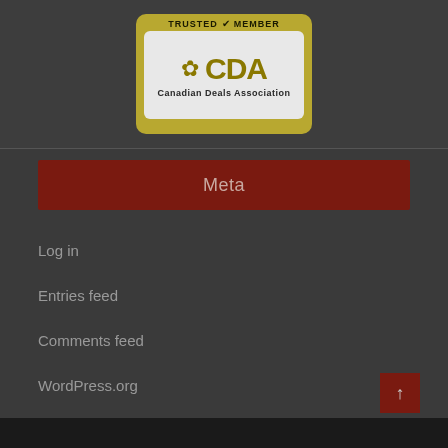[Figure (logo): Canadian Deals Association (CDA) Trusted Member badge. Gold/yellow background with 'TRUSTED MEMBER' text at top, maple leaf icon and 'CDA' text in gold, 'Canadian Deals Association' text below, on a light inner panel with rounded corners.]
Meta
Log in
Entries feed
Comments feed
WordPress.org